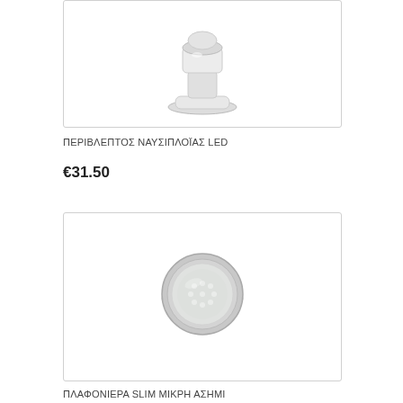[Figure (photo): White LED ceiling light fixture with round base and cylindrical stem, viewed from front, on white background]
ΠΕΡΙΒΛΕΠΤΟΣ ΝΑΥΣΙΠΛΟΪΑΣ LED
€31.50
[Figure (photo): Round slim silver/chrome LED ceiling light (plafoniera), viewed from above, circular disc shape with LED diffuser, on white background]
ΠΛΑΦΟΝΙΕΡΑ SLIM ΜΙΚΡΗ ΑΣΗΜΙ